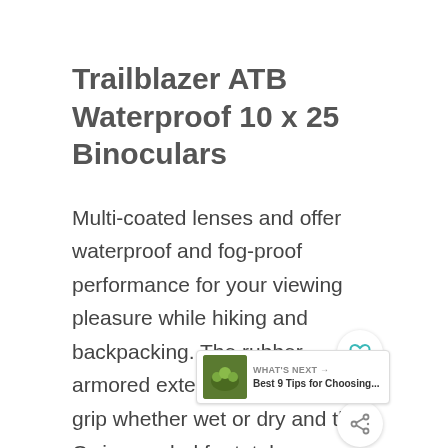Trailblazer ATB Waterproof 10 x 25 Binoculars
Multi-coated lenses and offer waterproof and fog-proof performance for your viewing pleasure while hiking and backpacking. The rubber-armored exterior provides a firm grip whether wet or dry and the O-ring sealed for total waterproof, fog-proof, and shockproof provides top performance in any environment.
more and get them from here.